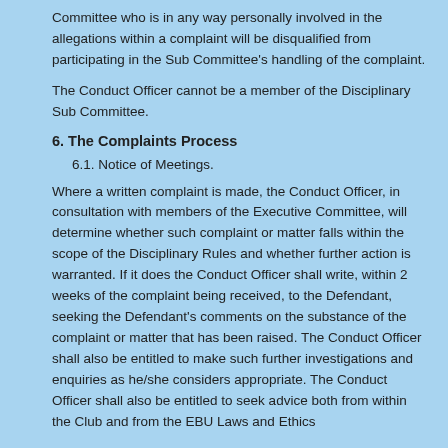Committee who is in any way personally involved in the allegations within a complaint will be disqualified from participating in the Sub Committee's handling of the complaint.
The Conduct Officer cannot be a member of the Disciplinary Sub Committee.
6. The Complaints Process
6.1. Notice of Meetings.
Where a written complaint is made, the Conduct Officer, in consultation with members of the Executive Committee, will determine whether such complaint or matter falls within the scope of the Disciplinary Rules and whether further action is warranted. If it does the Conduct Officer shall write, within 2 weeks of the complaint being received, to the Defendant, seeking the Defendant's comments on the substance of the complaint or matter that has been raised. The Conduct Officer shall also be entitled to make such further investigations and enquiries as he/she considers appropriate. The Conduct Officer shall also be entitled to seek advice both from within the Club and from the EBU Laws and Ethics